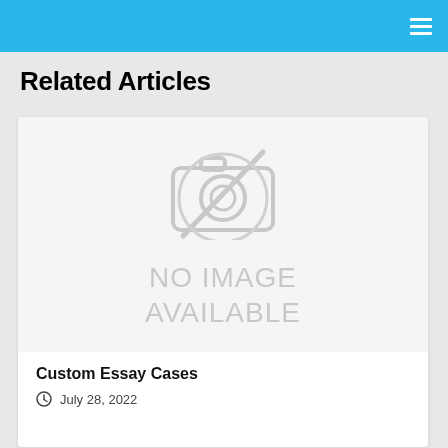Related Articles
[Figure (other): Article card with no image placeholder showing a camera icon with a slash and text 'NO IMAGE AVAILABLE', followed by article title 'Custom Essay Cases' and date 'July 28, 2022']